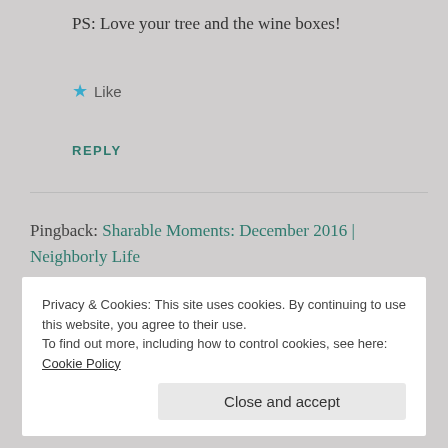PS: Love your tree and the wine boxes!
★ Like
REPLY
Pingback: Sharable Moments: December 2016 | Neighborly Life
Leave a Reply to Diane
Privacy & Cookies: This site uses cookies. By continuing to use this website, you agree to their use. To find out more, including how to control cookies, see here: Cookie Policy
Close and accept